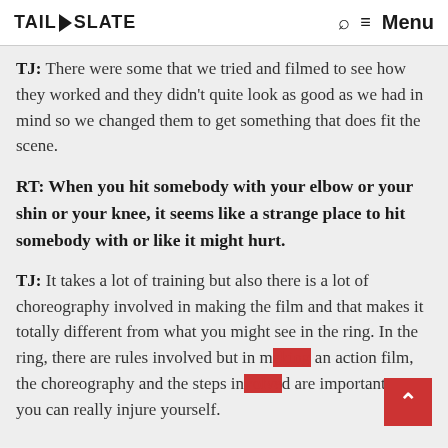TAIL SLATE | Menu
TJ: There were some that we tried and filmed to see how they worked and they didn't quite look as good as we had in mind so we changed them to get something that does fit the scene.
RT: When you hit somebody with your elbow or your shin or your knee, it seems like a strange place to hit somebody with or like it might hurt.
TJ: It takes a lot of training but also there is a lot of choreography involved in making the film and that makes it totally different from what you might see in the ring. In the ring, there are rules involved but in making an action film, the choreography and the steps involved are important or you can really injure yourself.